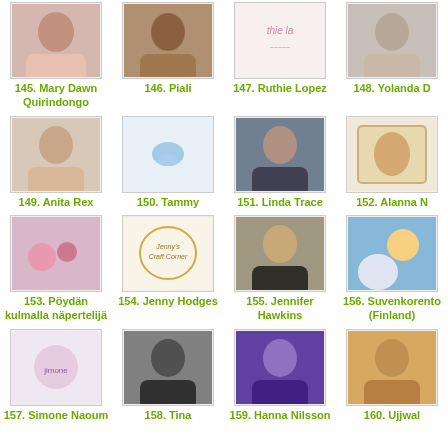[Figure (photo): Profile photo thumbnail]
145. Mary Dawn Quirindongo
[Figure (photo): Profile photo thumbnail]
146. Piali
[Figure (photo): Blog logo thumbnail]
147. Ruthie Lopez
[Figure (photo): Profile photo thumbnail]
148. Yolanda D
[Figure (photo): Profile photo thumbnail]
149. Anita Rex
[Figure (photo): Blog logo thumbnail]
150. Tammy
[Figure (photo): Profile photo thumbnail]
151. Linda Trace
[Figure (photo): Illustration thumbnail]
152. Alanna N
[Figure (photo): Profile photo thumbnail]
153. Pöydän kulmalla näpertelijä
[Figure (photo): Blog logo thumbnail]
154. Jenny Hodges
[Figure (photo): Profile photo thumbnail]
155. Jennifer Hawkins
[Figure (photo): Profile photo thumbnail]
156. Suvenkorento (Finland)
[Figure (photo): Blog logo thumbnail]
157. Simone Naoum
[Figure (photo): Profile photo thumbnail]
158. Tina
[Figure (photo): Profile photo thumbnail]
159. Hanna Nilsson
[Figure (photo): Profile photo thumbnail]
160. Ujjwal